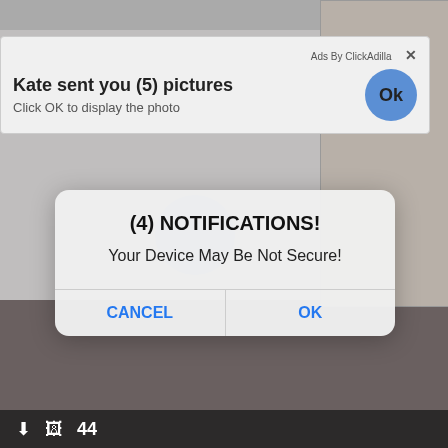[Figure (screenshot): Background showing adult content website with blurred/dimmed images]
Ads By ClickAdilla ×
Kate sent you (5) pictures
Click OK to display the photo
(4) NOTIFICATIONS!
Your Device May Be Not Secure!
CANCEL
OK
44